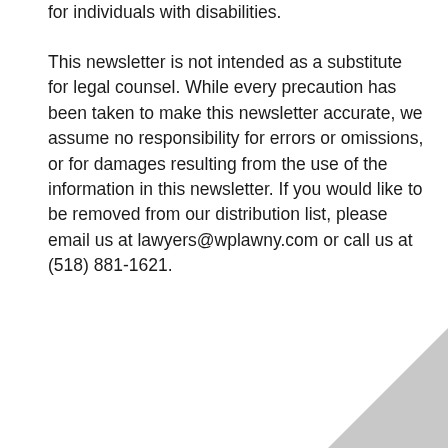for individuals with disabilities.
This newsletter is not intended as a substitute for legal counsel. While every precaution has been taken to make this newsletter accurate, we assume no responsibility for errors or omissions, or for damages resulting from the use of the information in this newsletter. If you would like to be removed from our distribution list, please email us at lawyers@wplawny.com or call us at (518) 881-1621.